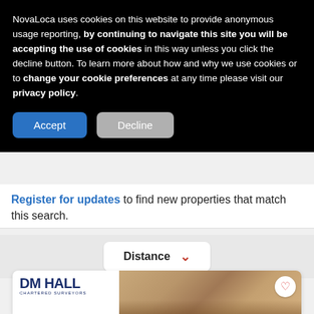NovaLoca uses cookies on this website to provide anonymous usage reporting, by continuing to navigate this site you will be accepting the use of cookies in this way unless you click the decline button. To learn more about how and why we use cookies or to change your cookie preferences at any time please visit our privacy policy.
[Figure (other): Accept and Decline cookie consent buttons on a dark overlay banner]
Register for updates to find new properties that match this search.
[Figure (other): Distance dropdown filter with chevron icon]
[Figure (photo): DM Hall Chartered Surveyors property listing card showing a classical stone building with columns, with a heart/save button overlay]